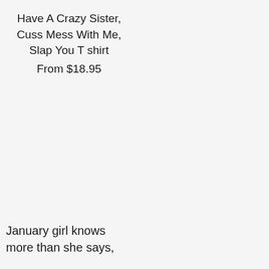Have A Crazy Sister, Cuss Mess With Me, Slap You T shirt
From $18.95
asshole than I was yesterday baby step fuck you black coffee mug
$16.95
January girl knows more than she says,